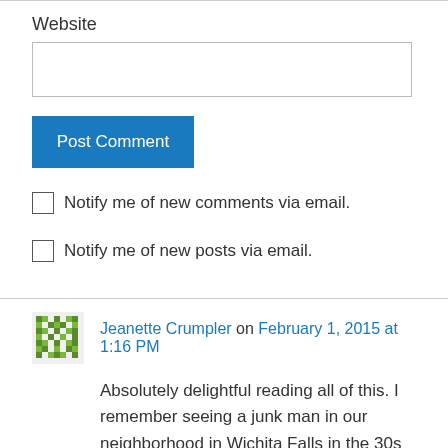Website
Post Comment
Notify me of new comments via email.
Notify me of new posts via email.
[Figure (illustration): Pixelated green avatar icon for commenter Jeanette Crumpler]
Jeanette Crumpler on February 1, 2015 at 1:16 PM
Absolutely delightful reading all of this. I remember seeing a junk man in our neighborhood in Wichita Falls in the 30s when I was growing up. Had an old mule and cart. The